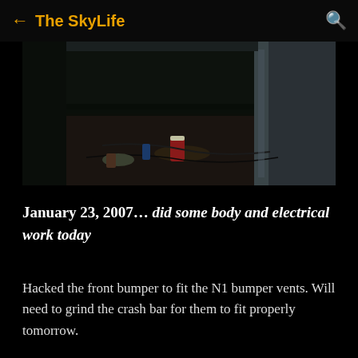← The SkyLife 🔍
[Figure (photo): Dark photo showing the underside/floor area of a car with wires, a can, and other items on the ground next to the vehicle body panel]
January 23, 2007… did some body and electrical work today
Hacked the front bumper to fit the N1 bumper vents. Will need to grind the crash bar for them to fit properly tomorrow.